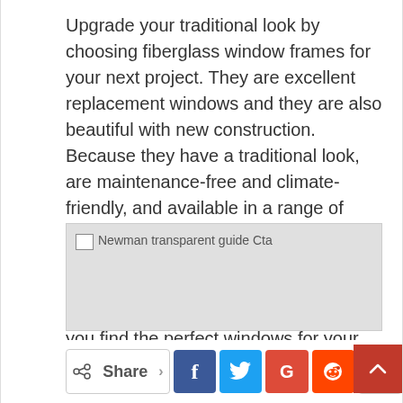Upgrade your traditional look by choosing fiberglass window frames for your next project. They are excellent replacement windows and they are also beautiful with new construction. Because they have a traditional look, are maintenance-free and climate-friendly, and available in a range of customizable colors, they are often a much more practical alternative to wood. Call our sales team. The staff at Newman Windows and Doors can help you find the perfect windows for your home.
[Figure (other): Broken image placeholder labeled 'Newman transparent guide Cta' with light gray background]